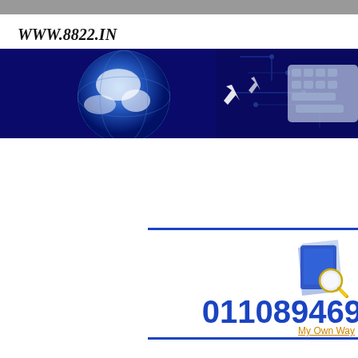WWW.8822.IN
[Figure (illustration): Technology banner showing a globe, circuit board patterns, cursor arrows, and a keyboard — all in blue tones]
[Figure (logo): Blue book with magnifying glass icon]
011089469
My Own Way